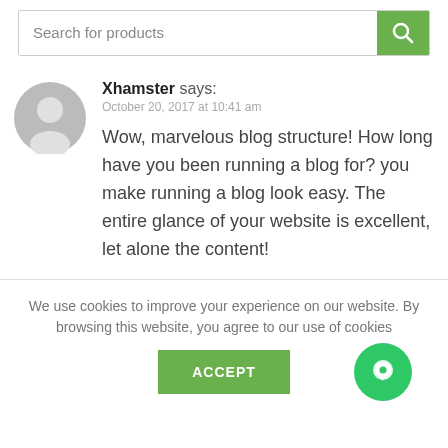[Figure (screenshot): Search bar with text 'Search for products' and a green search button with magnifying glass icon]
Xhamster says:
October 20, 2017 at 10:41 am
Wow, marvelous blog structure! How long have you been running a blog for? you make running a blog look easy. The entire glance of your website is excellent, let alone the content!
We use cookies to improve your experience on our website. By browsing this website, you agree to our use of cookies
[Figure (other): ACCEPT button (green) and a green circular chat button on the right]